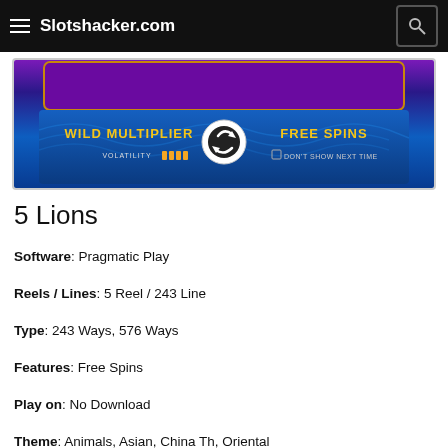Slotshacker.com
[Figure (screenshot): 5 Lions slot game screenshot showing Wild Multiplier and Free Spins features on a blue ocean-themed background with high volatility indicator]
5 Lions
Software: Pragmatic Play
Reels / Lines: 5 Reel / 243 Line
Type: 243 Ways, 576 Ways
Features: Free Spins
Play on: No Download
Theme: Animals, Asian, China Th, Oriental
5 Lions Pragmatic Play Facts